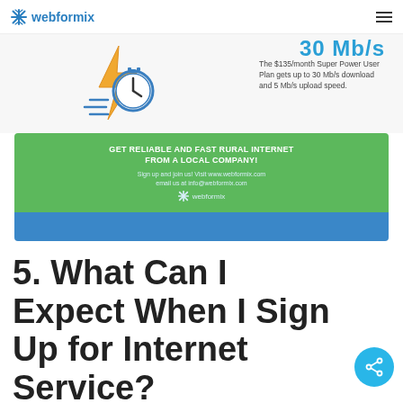webformix
[Figure (infographic): Banner showing lightning bolt and stopwatch icon with speed text '30 Mb/s' and description of the $135/month Super Power User Plan.]
The $135/month Super Power User Plan gets up to 30 Mb/s download and 5 Mb/s upload speed.
[Figure (infographic): Green and blue advertisement banner for webformix rural internet service. Green section reads: GET RELIABLE AND FAST RURAL INTERNET FROM A LOCAL COMPANY! Sign up and join us! Visit www.webformix.com email us at info@webformix.com. Blue section below.]
5. What Can I Expect When I Sign Up for Internet Service?